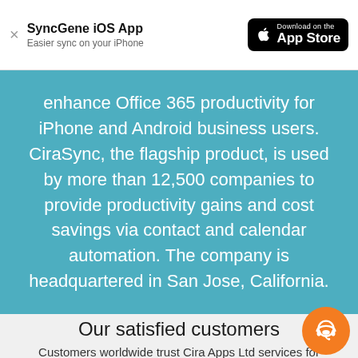SyncGene iOS App — Easier sync on your iPhone — Download on the App Store
enhance Office 365 productivity for iPhone and Android business users. CiraSync, the flagship product, is used by more than 12,500 companies to provide productivity gains and cost savings via contact and calendar automation. The company is headquartered in San Jose, California.
Our satisfied customers
Customers worldwide trust Cira Apps Ltd services for personal and business needs